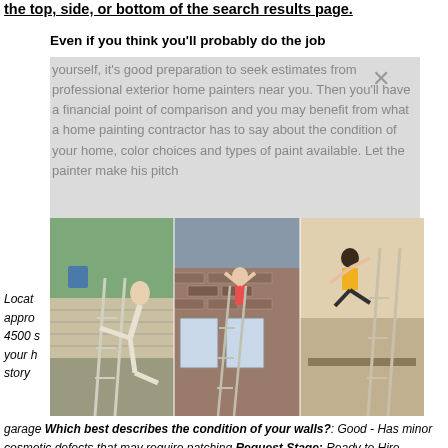the top, side, or bottom of the search results page.
Even if you think you'll probably do the job yourself, it's good preparation to seek estimates from professional exterior home painters near you. Then you'll have a financial point of comparison and you may benefit from what a home painting contractor has to say about the condition of your home, color choices and types of paint available. Let the painter make his pitch f... d... b... A...
[Figure (photo): Three photos showing people falling off ladders while working on house exteriors. Left: person in white falling backward off a ladder against beige siding. Middle: person in red top hanging from a ladder on a brick house exterior. Right: person in yellow shirt falling from a ladder indoors.]
Locat... appro... 4500 s... of your h... One story ... garage ... Which best describes the condition of your walls?: Good - Has minor cosmetic defects that may require patching Request Stage: Ready to Hire Desired Completion Date: Timing is flexible Comment: I would like to get an estimate for exterior painters for his Car Week Arnade Home